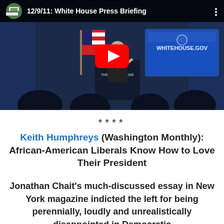[Figure (screenshot): YouTube video thumbnail showing a White House Press Briefing dated 12/9/11. A man in a suit stands at a podium labeled 'THE WHITE HOUSE WASHINGTON', with an American flag and a screen showing WHITEHOUSE.GOV in the background. People are seated in the foreground. A large red YouTube play button is overlaid in the center. A title bar at the top reads '12/9/11: White House Press Briefing' with a White House icon on the left and three dots on the right.]
****
Keith Humphreys (Washington Monthly): African-American Liberals Know How to Love Their President
Jonathan Chait's much-discussed essay in New York magazine indicted the left for being perennially, loudly and unrealistically disappointed in Democratic